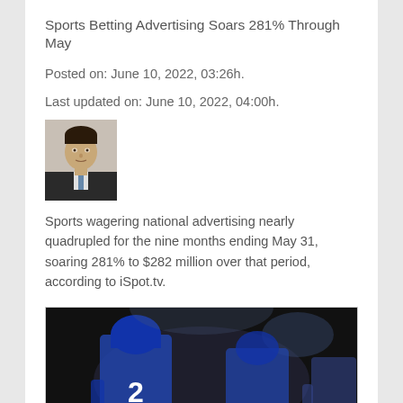Sports Betting Advertising Soars 281% Through May
Posted on: June 10, 2022, 03:26h.
Last updated on: June 10, 2022, 04:00h.
[Figure (photo): Headshot of a man in a suit]
Sports wagering national advertising nearly quadrupled for the nine months ending May 31, soaring 281% to $282 million over that period, according to iSpot.tv.
[Figure (photo): Football players in blue uniforms walking through a tunnel]